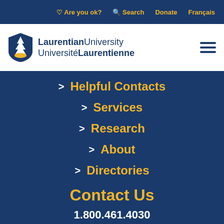Are you ok? | Search | Donate | Français
[Figure (logo): Laurentian University / Université Laurentienne shield logo with tree and yellow arc, beside bilingual university name]
> Helpful Contacts
> Services
> Research
> About
> Directories
Contact Us
1.800.461.4030